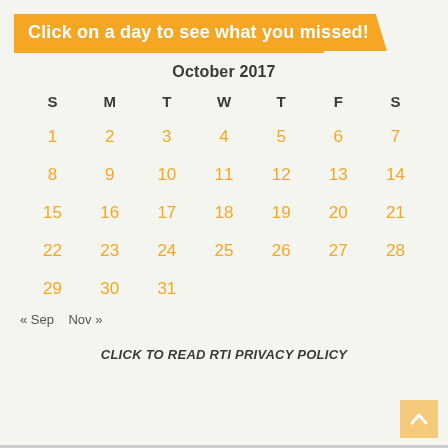Click on a day to see what you missed!
| S | M | T | W | T | F | S |
| --- | --- | --- | --- | --- | --- | --- |
| 1 | 2 | 3 | 4 | 5 | 6 | 7 |
| 8 | 9 | 10 | 11 | 12 | 13 | 14 |
| 15 | 16 | 17 | 18 | 19 | 20 | 21 |
| 22 | 23 | 24 | 25 | 26 | 27 | 28 |
| 29 | 30 | 31 |  |  |  |  |
« Sep   Nov »
CLICK TO READ RTI PRIVACY POLICY